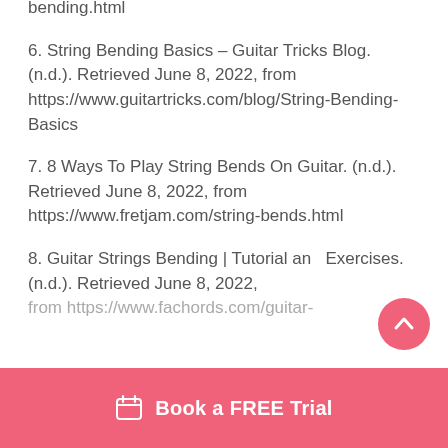bending.html
6. String Bending Basics – Guitar Tricks Blog. (n.d.). Retrieved June 8, 2022, from https://www.guitartricks.com/blog/String-Bending-Basics
7. 8 Ways To Play String Bends On Guitar. (n.d.). Retrieved June 8, 2022, from https://www.fretjam.com/string-bends.html
8. Guitar Strings Bending | Tutorial and Exercises. (n.d.). Retrieved June 8, 2022, from https://www.fachords.com/guitar-
Book a FREE Trial